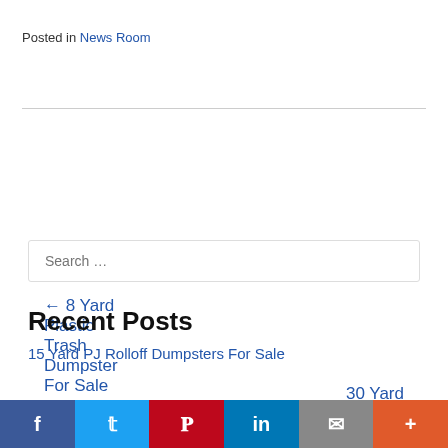Posted in News Room
← 8 Yard Plastic Trash Dumpster For Sale
30 Yard Tub Style Dumpsters For Sale →
Search ...
Recent Posts
15 Yard PJ Rolloff Dumpsters For Sale
[Figure (other): Social sharing bar with Facebook, Twitter, Pinterest, LinkedIn, Email, and More buttons]